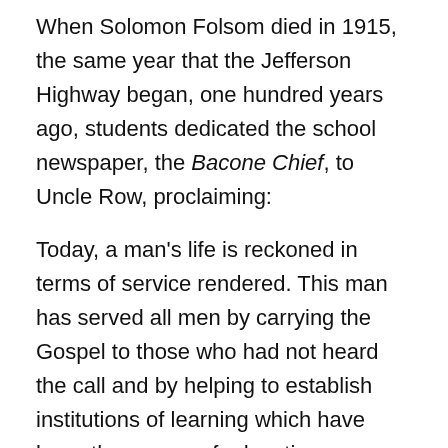When Solomon Folsom died in 1915, the same year that the Jefferson Highway began, one hundred years ago, students dedicated the school newspaper, the Bacone Chief, to Uncle Row, proclaiming:
Today, a man's life is reckoned in terms of service rendered. This man has served all men by carrying the Gospel to those who had not heard the call and by helping to establish institutions of learning which have been the means of educating thousands of Indian boys and girls. He has lived a conscientious and godly life. And by doing so, he has ennobled many characters. He is looked upon as a 'Father' by many of the Indians. He has the honor of being a member of the committee who helped to establish this university.
There were several hundred students in attendance at